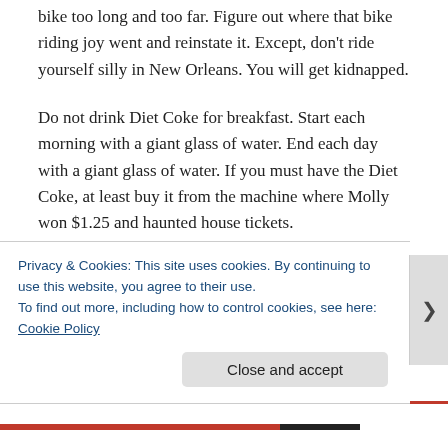bike too long and too far. Figure out where that bike riding joy went and reinstate it. Except, don't ride yourself silly in New Orleans. You will get kidnapped.
Do not drink Diet Coke for breakfast. Start each morning with a giant glass of water. End each day with a giant glass of water. If you must have the Diet Coke, at least buy it from the machine where Molly won $1.25 and haunted house tickets.
Stop writing emails on Ambien. If you send an email
Privacy & Cookies: This site uses cookies. By continuing to use this website, you agree to their use.
To find out more, including how to control cookies, see here: Cookie Policy